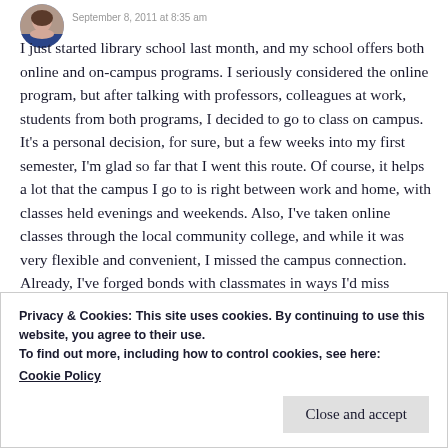September 8, 2011 at 8:35 am
I just started library school last month, and my school offers both online and on-campus programs. I seriously considered the online program, but after talking with professors, colleagues at work, students from both programs, I decided to go to class on campus. It's a personal decision, for sure, but a few weeks into my first semester, I'm glad so far that I went this route. Of course, it helps a lot that the campus I go to is right between work and home, with classes held evenings and weekends. Also, I've taken online classes through the local community college, and while it was very flexible and convenient, I missed the campus connection. Already, I've forged bonds with classmates in ways I'd miss online, like on breaks and walking to/from the parking lot. Totally a personal
Privacy & Cookies: This site uses cookies. By continuing to use this website, you agree to their use.
To find out more, including how to control cookies, see here:
Cookie Policy
Close and accept